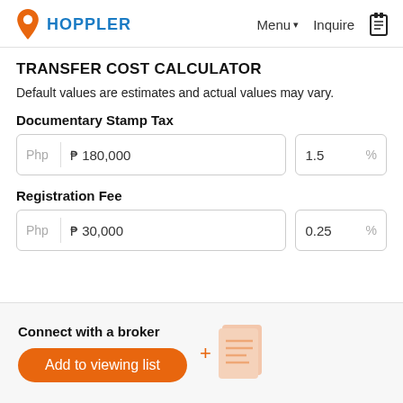HOPPLER   Menu ▾   Inquire
TRANSFER COST CALCULATOR
Default values are estimates and actual values may vary.
Documentary Stamp Tax
Php  ₱ 180,000    1.5  %
Registration Fee
Php  ₱ 30,000    0.25  %
Connect with a broker
Add to viewing list